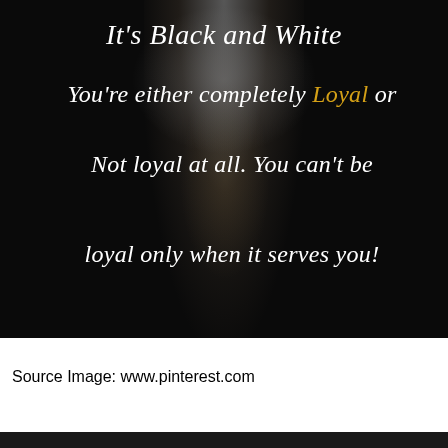[Figure (photo): Dark background image with handwritten cursive script quote: 'It's Black and White / You're either completely Loyal or / Not loyal at all. You can't be / loyal only when it serves you!' The word 'Loyal' is highlighted in gold/yellow. Background shows a faint ghostly or blurred figure silhouette in shades of grey and brown.]
Source Image: www.pinterest.com